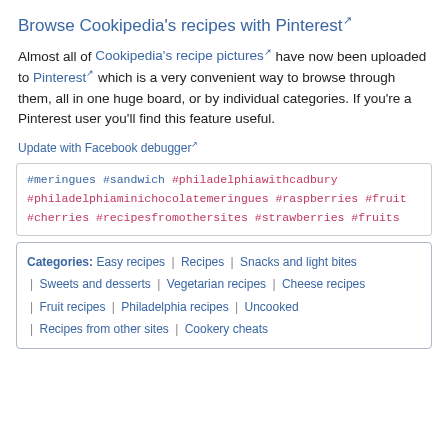Browse Cookipedia's recipes with Pinterest
Almost all of Cookipedia's recipe pictures have now been uploaded to Pinterest which is a very convenient way to browse through them, all in one huge board, or by individual categories. If you're a Pinterest user you'll find this feature useful.
Update with Facebook debugger
#meringues #sandwich #philadelphiawithcadbury #philadelphiaminichocolatemeringues #raspberries #fruit #cherries #recipesfromothersites #strawberries #fruits
| Categories |
| --- |
| Easy recipes | Recipes | Snacks and light bites |
| Sweets and desserts | Vegetarian recipes | Cheese recipes |
| Fruit recipes | Philadelphia recipes | Uncooked |
| Recipes from other sites | Cookery cheats |  |